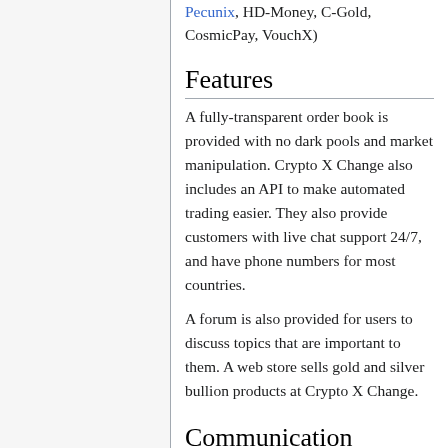Pecunix, HD-Money, C-Gold, CosmicPay, VouchX)
Features
A fully-transparent order book is provided with no dark pools and market manipulation. Crypto X Change also includes an API to make automated trading easier. They also provide customers with live chat support 24/7, and have phone numbers for most countries.
A forum is also provided for users to discuss topics that are important to them. A web store sells gold and silver bullion products at Crypto X Change.
Communication